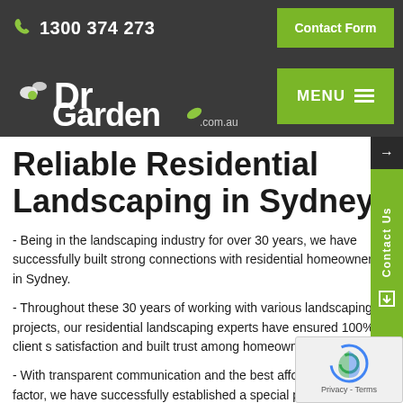1300 374 273  Contact Form
[Figure (logo): Dr Garden logo with stylized text and leaf icon]
Reliable Residential Landscaping in Sydney
- Being in the landscaping industry for over 30 years, we have successfully built strong connections with residential homeowners in Sydney.
- Throughout these 30 years of working with various landscaping projects, our residential landscaping experts have ensured 100% client s satisfaction and built trust among homeowners in Sydney.
- With transparent communication and the best affordable pricing factor, we have successfully established a special place in the hearts of our long-standing clients.
- As reliable landscaping in Sydney, you can rest assured you will be